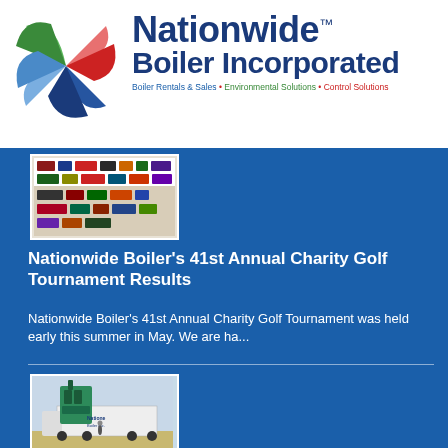[Figure (logo): Nationwide Boiler Incorporated logo with pinwheel icon and tagline: Boiler Rentals & Sales • Environmental Solutions • Control Solutions]
[Figure (photo): Sponsor banner/logos thumbnail for charity golf tournament article]
Nationwide Boiler's 41st Annual Charity Golf Tournament Results
Nationwide Boiler's 41st Annual Charity Golf Tournament was held early this summer in May. We are ha...
[Figure (photo): Photo of Nationwide Boiler Inc. truck and green industrial equipment on a flatbed outdoors]
Additional Energy Savings with Variable Frequency Drives